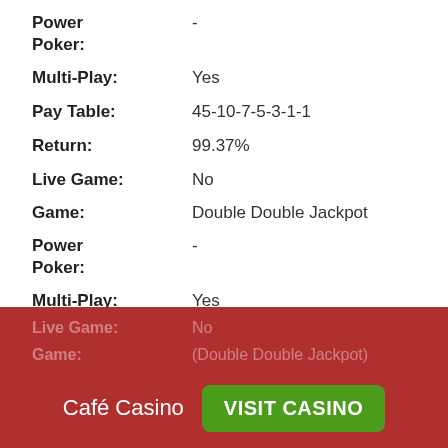Power Poker: -
Multi-Play: Yes
Pay Table: 45-10-7-5-3-1-1
Return: 99.37%
Live Game: No
Game: Double Double Jackpot
Power Poker: -
Multi-Play: Yes
Pay Table: 160-160-160-80-50-9-6-5-3-1-1
Return: 99.36%
Live Game: No
Game: (faded/partially visible)
Café Casino  VISIT CASINO